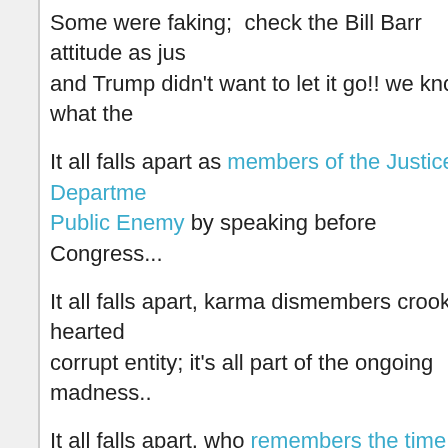Some were faking;  check the Bill Barr attitude as jus and Trump didn't want to let it go!! we know what the
It all falls apart as members of the Justice Departme Public Enemy by speaking before Congress...
It all falls apart, karma dismembers crooked hearted corrupt entity; it's all part of the ongoing madness..
It all falls apart, who remembers the time like Michae was fair in the sport or has there always been a nega reflecting on this Throwback Thursday..
It all falls apart, like no protections from a speedy de seekers as Trump continues to attack immigration; ir oppressed are wondering, who'll work with me?
Same as those dealing with the twin pandemics,  Co